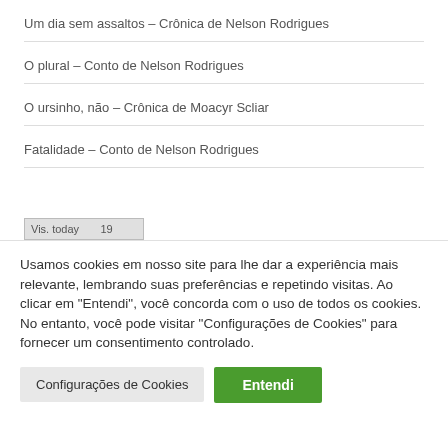Um dia sem assaltos – Crônica de Nelson Rodrigues
O plural – Conto de Nelson Rodrigues
O ursinho, não – Crônica de Moacyr Scliar
Fatalidade – Conto de Nelson Rodrigues
Vis. today   19
Usamos cookies em nosso site para lhe dar a experiência mais relevante, lembrando suas preferências e repetindo visitas. Ao clicar em "Entendi", você concorda com o uso de todos os cookies. No entanto, você pode visitar "Configurações de Cookies" para fornecer um consentimento controlado.
Configurações de Cookies
Entendi